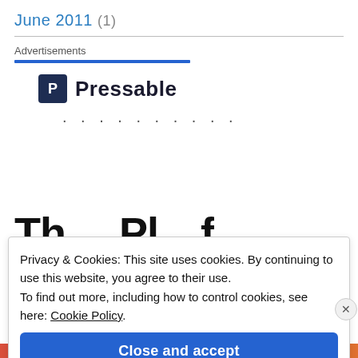June 2011 (1)
Advertisements
[Figure (logo): Pressable logo with blue P icon and bold text 'Pressable']
..........
Privacy & Cookies: This site uses cookies. By continuing to use this website, you agree to their use. To find out more, including how to control cookies, see here: Cookie Policy.
Close and accept